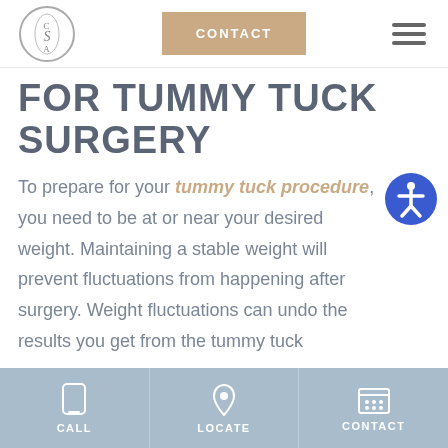[Figure (logo): CSA circular logo with decorative script lettering]
CONTACT
FOR TUMMY TUCK SURGERY
To prepare for your tummy tuck procedure, you need to be at or near your desired weight. Maintaining a stable weight will prevent fluctuations from happening after surgery. Weight fluctuations can undo the results you get from the tummy tuck
CALL   LOCATE   CONTACT